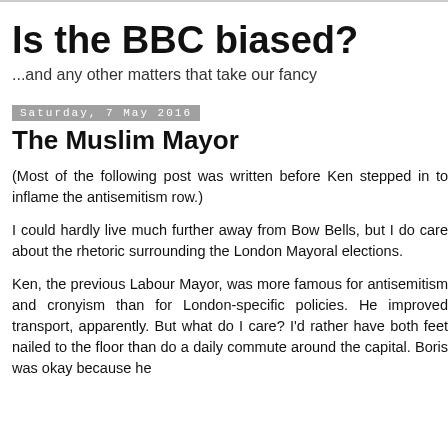Is the BBC biased?
...and any other matters that take our fancy
Saturday, 7 May 2016
The Muslim Mayor
(Most of the following post was written before Ken stepped in to inflame the antisemitism row.)
I could hardly live much further away from Bow Bells, but I do care about the rhetoric surrounding the London Mayoral elections.
Ken, the previous Labour Mayor, was more famous for antisemitism and cronyism than for London-specific policies. He improved transport, apparently. But what do I care? I'd rather have both feet nailed to the floor than do a daily commute around the capital. Boris was okay because he